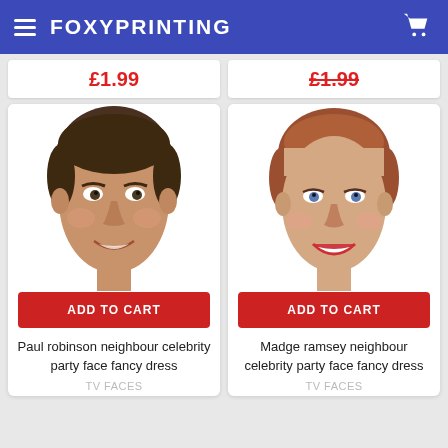FOXYPRINTING
£1.99
£1.99
[Figure (photo): Paul Robinson celebrity face mask photo for fancy dress]
ADD TO CART
Paul robinson neighbour celebrity party face fancy dress
TV FACES
[Figure (photo): Madge Ramsey celebrity face mask photo for fancy dress]
ADD TO CART
Madge ramsey neighbour celebrity party face fancy dress
TV FACES